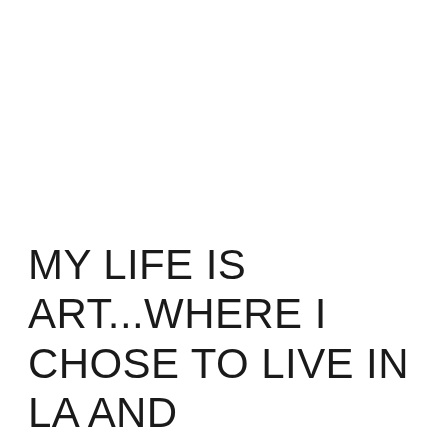MY LIFE IS ART...WHERE I CHOSE TO LIVE IN LA AND